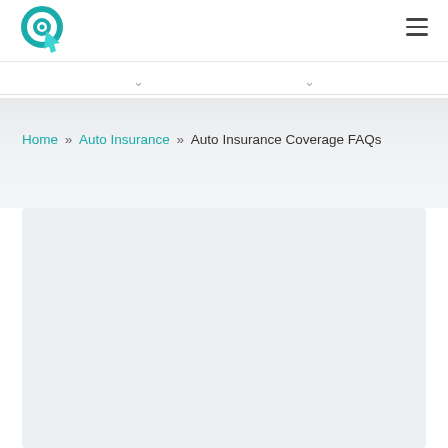Home » Auto Insurance » Auto Insurance Coverage FAQs
[Figure (logo): Placeholder logo icon — circular target with teal cursor arrow, greyed out, centered in light grey image band]